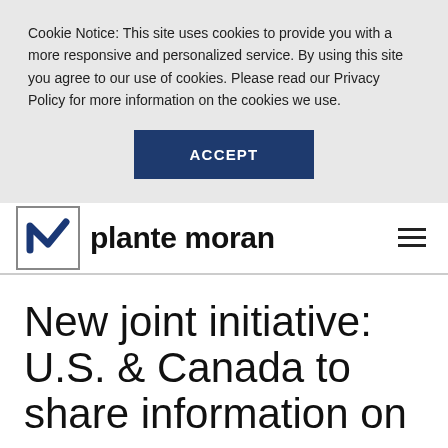Cookie Notice: This site uses cookies to provide you with a more responsive and personalized service. By using this site you agree to our use of cookies. Please read our Privacy Policy for more information on the cookies we use.
ACCEPT
[Figure (logo): Plante Moran logo with stylized 'n' in a square box followed by 'plante moran' wordmark]
New joint initiative: U.S. & Canada to share information on